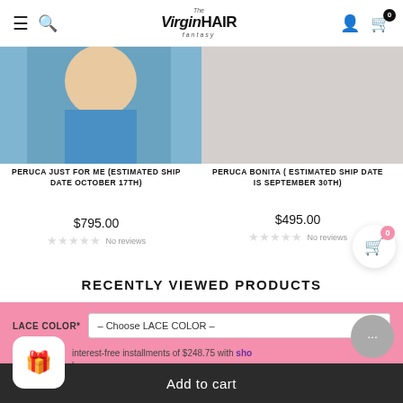The Virgin Hair Fantasy — navigation header with hamburger, search, logo, account, cart (0)
[Figure (photo): Product image of person wearing blue wig/hair — Peruca Just For Me]
PERUCA JUST FOR ME (ESTIMATED SHIP DATE OCTOBER 17TH)
$795.00
No reviews
[Figure (photo): Product placeholder image — Peruca Bonita]
PERUCA BONITA ( ESTIMATED SHIP DATE IS SEPTEMBER 30TH)
$495.00
No reviews
RECENTLY VIEWED PRODUCTS
LACE COLOR*
– Choose LACE COLOR –
interest-free installments of $248.75 with Shop — learn more
Add to cart